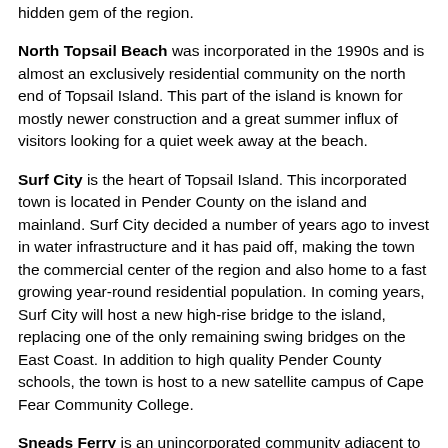hidden gem of the region.
North Topsail Beach was incorporated in the 1990s and is almost an exclusively residential community on the north end of Topsail Island. This part of the island is known for mostly newer construction and a great summer influx of visitors looking for a quiet week away at the beach.
Surf City is the heart of Topsail Island. This incorporated town is located in Pender County on the island and mainland. Surf City decided a number of years ago to invest in water infrastructure and it has paid off, making the town the commercial center of the region and also home to a fast growing year-round residential population. In coming years, Surf City will host a new high-rise bridge to the island, replacing one of the only remaining swing bridges on the East Coast. In addition to high quality Pender County schools, the town is host to a new satellite campus of Cape Fear Community College.
Sneads Ferry is an unincorporated community adjacent to Jacksonville and Marine Corps Base Camp Lejeune. Sneads Ferry